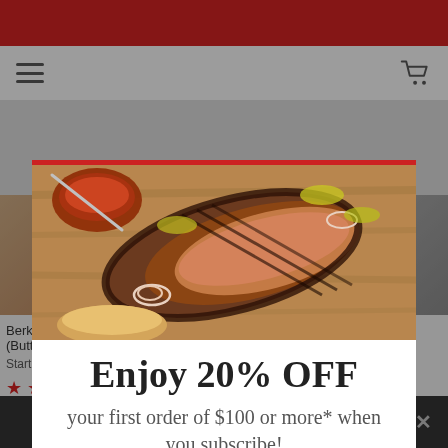[Figure (screenshot): E-commerce website screenshot showing a modal popup overlay on a BBQ/meat products page. The modal has a red top border, a photo of grilled brisket on a cutting board with sauce, and a promotional offer.]
Enjoy 20% OFF
your first order of $100 or more* when you subscribe!
Enter your email address
ACTIVATE OFFER